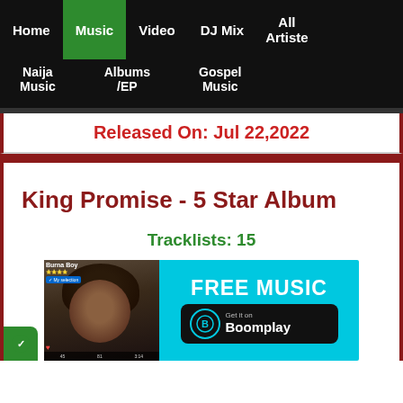Home | Music | Video | DJ Mix | All Artiste | Naija Music | Albums /EP | Gospel Music
Released On: Jul 22,2022
King Promise - 5 Star Album
Tracklists: 15
Year Of Release: 2022
Released On: Jul 22,2022
[Figure (screenshot): Boomplay advertisement banner with FREE MUSIC text and Get it on Boomplay button, with a thumbnail of Burna Boy]